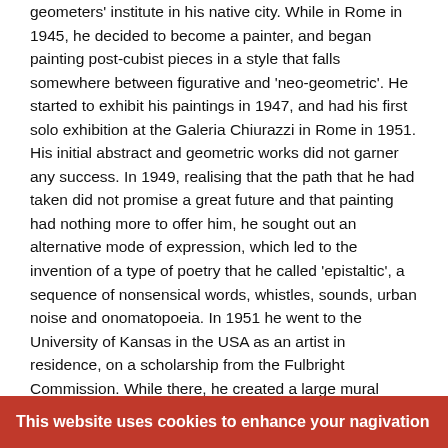geometers' institute in his native city. While in Rome in 1945, he decided to become a painter, and began painting post-cubist pieces in a style that falls somewhere between figurative and 'neo-geometric'. He started to exhibit his paintings in 1947, and had his first solo exhibition at the Galeria Chiurazzi in Rome in 1951. His initial abstract and geometric works did not garner any success. In 1949, realising that the path that he had taken did not promise a great future and that painting had nothing more to offer him, he sought out an alternative mode of expression, which led to the invention of a type of poetry that he called 'epistaltic', a sequence of nonsensical words, whistles, sounds, urban noise and onomatopoeia. In 1951 he went to the University of Kansas in the USA as an artist in residence, on a scholarship from the Fulbright Commission. While there, he created a large mural composition and experimented with providing his phonetic poems with a percussion accompaniment. Rotella carried out a performance of his phonetic poetry at Harvard University in Boston, and recorded others for the Library of Congress in Washington DC. His second solo exhibition was held at the Rockhill Nelson Gallery in Kansas City (1952). During his sojourn in
This website uses cookies to enhance your nagivation